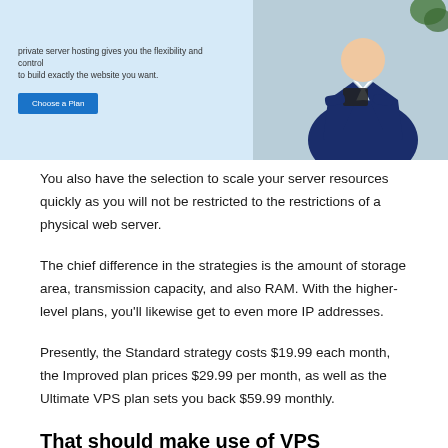[Figure (screenshot): Screenshot of a web hosting page showing a light blue background with descriptive text about private server hosting, a 'Choose a Plan' button, and a photo of a person in a suit holding a device on the right side.]
You also have the selection to scale your server resources quickly as you will not be restricted to the restrictions of a physical web server.
The chief difference in the strategies is the amount of storage area, transmission capacity, and also RAM. With the higher-level plans, you'll likewise get to even more IP addresses.
Presently, the Standard strategy costs $19.99 each month, the Improved plan prices $29.99 per month, as well as the Ultimate VPS plan sets you back $59.99 monthly.
That should make use of VPS Hosting?